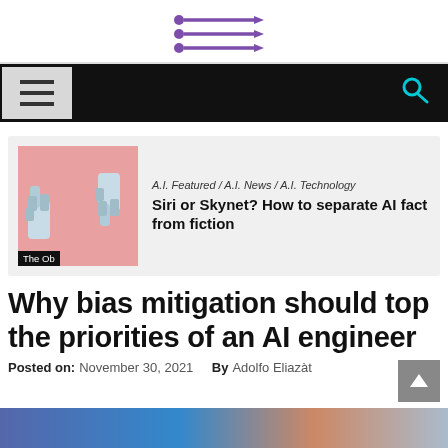[Logo: stylized triple-arrow/filter icon]
[Figure (logo): Website navigation bar with hamburger menu icon on left and search icon on right, dark background]
[Figure (photo): Related article card with robot hands image on pink background, The Observer thumbnail label]
A.I. Featured / A.I. News / A.I. Technology
Siri or Skynet? How to separate AI fact from fiction
Why bias mitigation should top the priorities of an AI engineer
Posted on: November 30, 2021   By Adolfo Eliazàt
[Figure (photo): Article hero image strip at bottom of page]